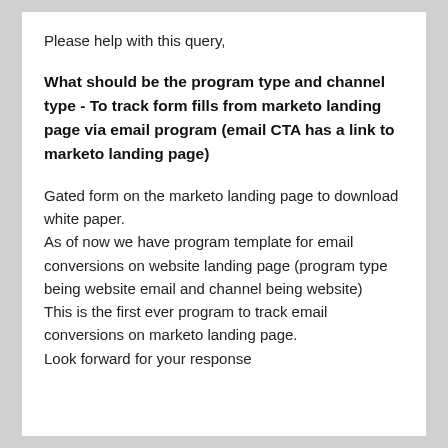Please help with this query,
What should be the program type and channel type - To track form fills from marketo landing page via email program (email CTA has a link to marketo landing page)
Gated form on the marketo landing page to download white paper.
As of now we have program template for email conversions on website landing page (program type being website email and channel being website)
This is the first ever program to track email conversions on marketo landing page.
Look forward for your response